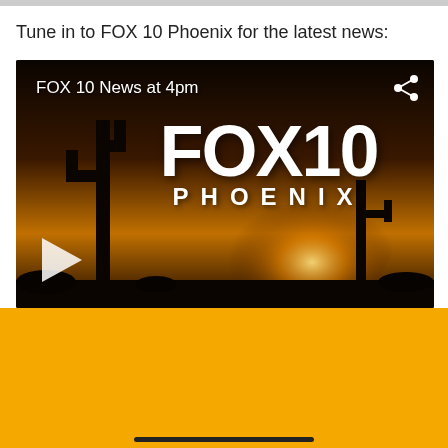Tune in to FOX 10 Phoenix for the latest news:
[Figure (screenshot): FOX 10 Phoenix news video thumbnail showing desert sunset with saguaro cactus silhouette and FOX 10 PHOENIX logo. Overlay text 'FOX 10 News at 4pm' in top left, share icon top right, play button bottom left.]
WATCH LIVE
[Figure (screenshot): Small FOX 10 Phoenix thumbnail showing desert sunset with FOX 10 PHOENIX logo]
FOX 10 News
The latest Arizona headlines, national news events of the day + sports and weather updates.